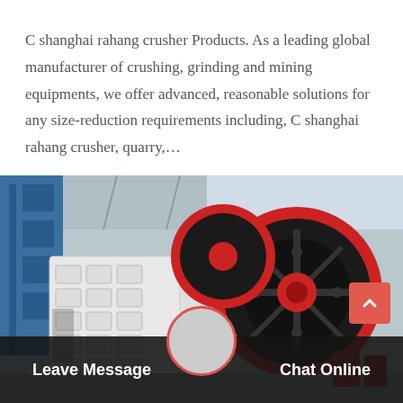C shanghai rahang crusher Products. As a leading global manufacturer of crushing, grinding and mining equipments, we offer advanced, reasonable solutions for any size-reduction requirements including, C shanghai rahang crusher, quarry,…
[Figure (photo): Industrial jaw crusher machine in a factory setting, white body with large red and black flywheel, industrial building interior background with blue steel framework]